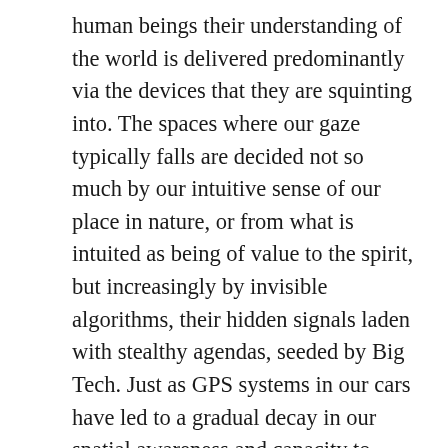human beings their understanding of the world is delivered predominantly via the devices that they are squinting into. The spaces where our gaze typically falls are decided not so much by our intuitive sense of our place in nature, or from what is intuited as being of value to the spirit, but increasingly by invisible algorithms, their hidden signals laden with stealthy agendas, seeded by Big Tech. Just as GPS systems in our cars have led to a gradual decay in our spatial awareness and capacity to navigate around a city (without the technology), our ceding perceptual power to the Big Tech robots has come with a loss of faith in the knowing contained within our bodies, within our psyches. Our bodily